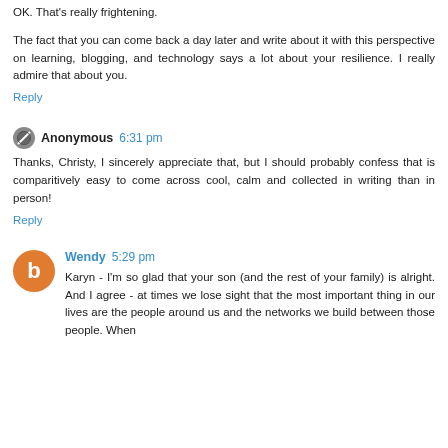OK. That's really frightening.
The fact that you can come back a day later and write about it with this perspective on learning, blogging, and technology says a lot about your resilience. I really admire that about you.
Reply
Anonymous  6:31 pm
Thanks, Christy, I sincerely appreciate that, but I should probably confess that is comparitively easy to come across cool, calm and collected in writing than in person!
Reply
Wendy  5:29 pm
Karyn - I'm so glad that your son (and the rest of your family) is alright. And I agree - at times we lose sight that the most important thing in our lives are the people around us and the networks we build between those people. When